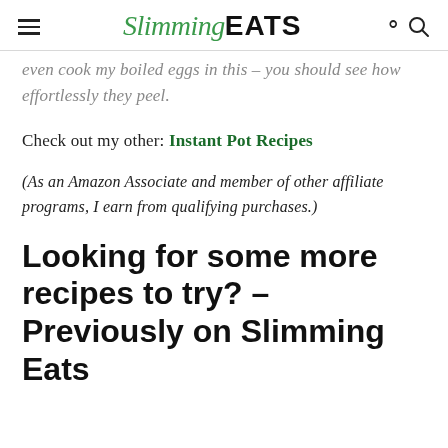Slimming EATS
even cook my boiled eggs in this – you should see how effortlessly they peel.
Check out my other: Instant Pot Recipes
(As an Amazon Associate and member of other affiliate programs, I earn from qualifying purchases.)
Looking for some more recipes to try? – Previously on Slimming Eats